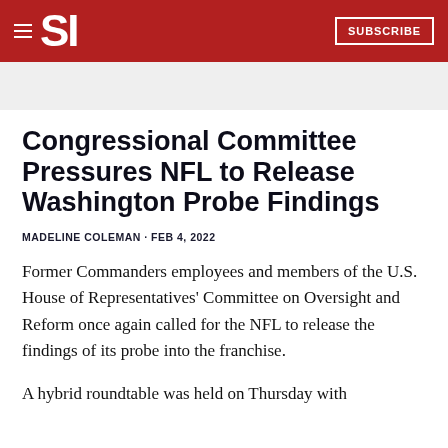SI SUBSCRIBE
Congressional Committee Pressures NFL to Release Washington Probe Findings
MADELINE COLEMAN · FEB 4, 2022
Former Commanders employees and members of the U.S. House of Representatives' Committee on Oversight and Reform once again called for the NFL to release the findings of its probe into the franchise.
A hybrid roundtable was held on Thursday with